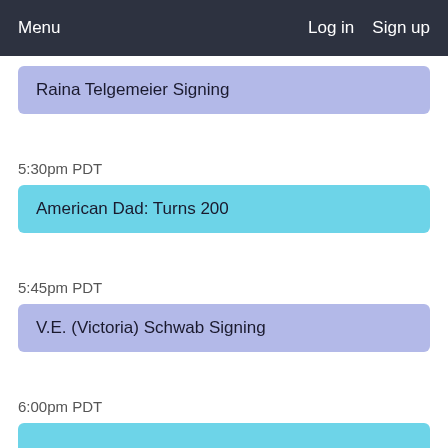Menu   Log in   Sign up
Raina Telgemeier Signing
5:30pm PDT
American Dad: Turns 200
5:45pm PDT
V.E. (Victoria) Schwab Signing
6:00pm PDT